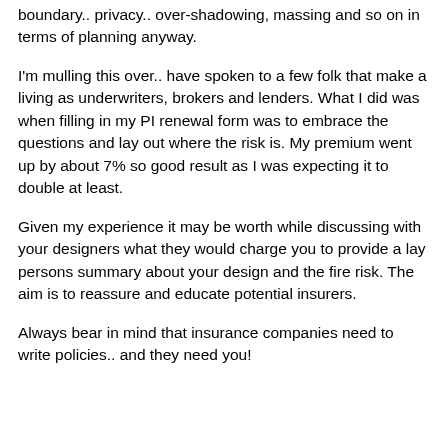boundary.. privacy.. over-shadowing, massing and so on in terms of planning anyway.
I'm mulling this over.. have spoken to a few folk that make a living as underwriters, brokers and lenders. What I did was when filling in my PI renewal form was to embrace the questions and lay out where the risk is. My premium went up by about 7% so good result as I was expecting it to double at least.
Given my experience it may be worth while discussing with your designers what they would charge you to provide a lay persons summary about your design and the fire risk. The aim is to reassure and educate potential insurers.
Always bear in mind that insurance companies need to write policies.. and they need you!